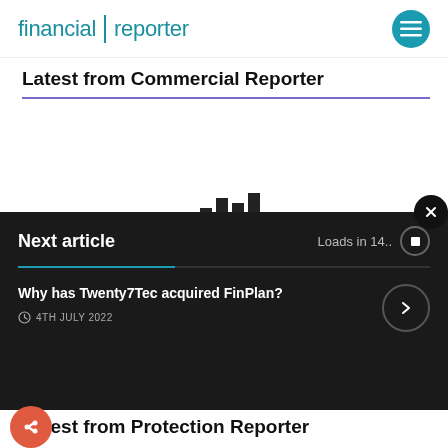financial reporter
Latest from Commercial Reporter
[Figure (other): Bar chart placeholder showing partial bar chart graphic with dark bars]
Next article  Loads in 14..  Why has Twenty7Tec acquired FinPlan?  4TH JULY 2022
Latest from Protection Reporter